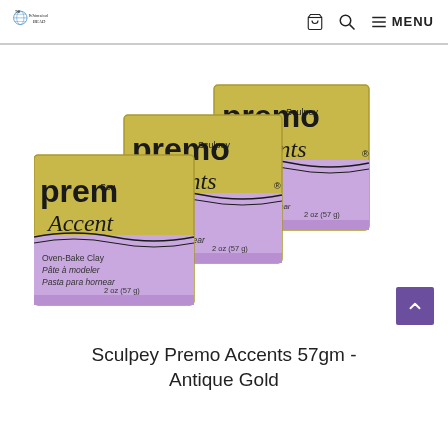The Whimsical Bead — cart, search, MENU
[Figure (photo): Three packages of Premo Sculpey Accents Oven-Bake Clay in Antique Gold color (gold packaging with purple/lavender accents), 2 oz (57g) each, arranged in a staggered row on a white background.]
Sculpey Premo Accents 57gm - Antique Gold